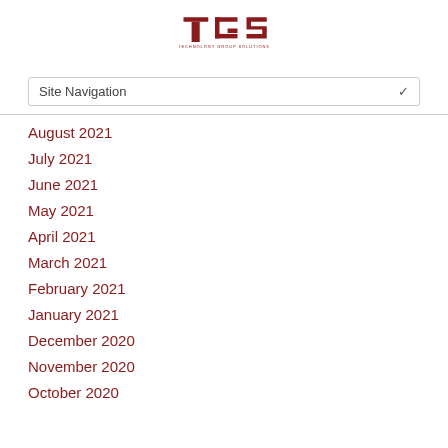[Figure (logo): TGS Technology Group Solutions logo in dark red]
Site Navigation
August 2021
July 2021
June 2021
May 2021
April 2021
March 2021
February 2021
January 2021
December 2020
November 2020
October 2020